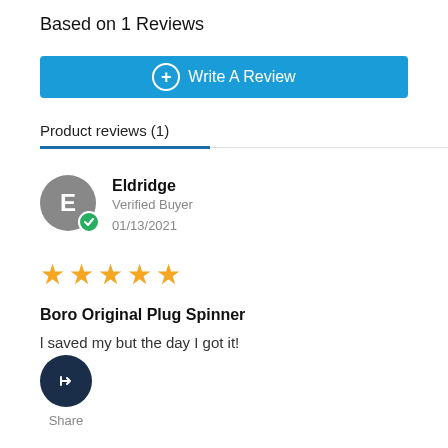Based on 1 Reviews
+ Write A Review
Product reviews (1)
Eldridge
Verified Buyer
01/13/2021
[Figure (other): 5 star rating (gold stars)]
Boro Original Plug Spinner
l saved my but the day I got it!
Share